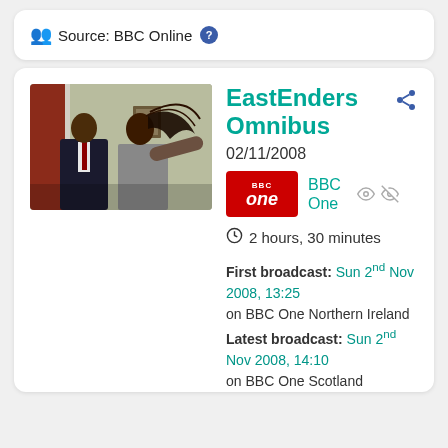Source: BBC Online ?
[Figure (photo): Two people in a dramatic scene — a man in a dark suit and a woman with flowing hair, appearing to be in conflict against a wall with a framed picture.]
EastEnders Omnibus
02/11/2008
BBC One
2 hours, 30 minutes
First broadcast: Sun 2nd Nov 2008, 13:25 on BBC One Northern Ireland
Latest broadcast: Sun 2nd Nov 2008, 14:10 on BBC One Scotland